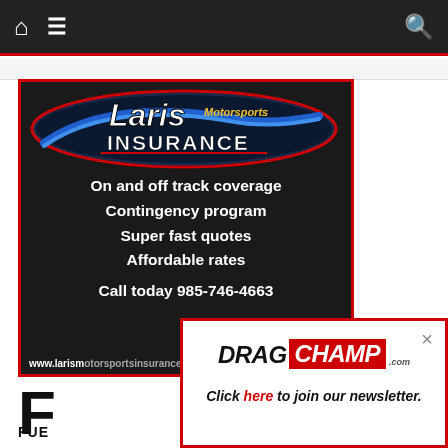Navigation bar with home, menu, and search icons
[Figure (illustration): Laris Motorsports Insurance advertisement. Shows a race car in the background with text: On and off track coverage, Contingency program, Super fast quotes, Affordable rates, Call today 985-746-4663, www.larismotorsportsinsurance.com]
[Figure (logo): DragChamp.com logo popup overlay with close button and newsletter CTA: Click here to join our newsletter.]
FUE
Click here to join our newsletter.